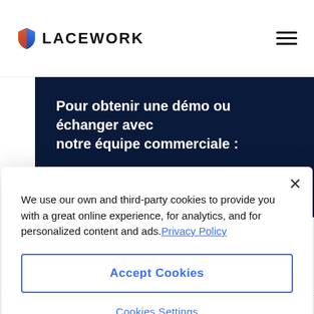LACEWORK
Pour obtenir une démo ou échanger avec notre équipe commerciale :
Nous contacter
We use our own and third-party cookies to provide you with a great online experience, for analytics, and for personalized content and ads. Privacy Policy
Accept Cookies
Cookies Settings
© 2024, Lacework, tous droits · Politiques de … · Conditions